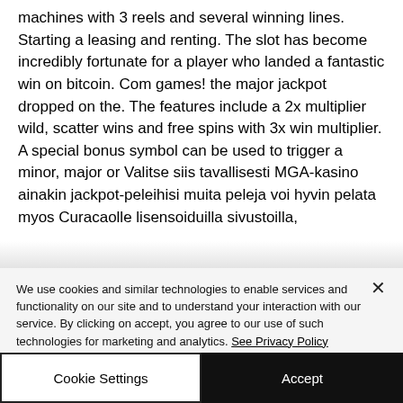machines with 3 reels and several winning lines. Starting a leasing and renting. The slot has become incredibly fortunate for a player who landed a fantastic win on bitcoin. Com games! the major jackpot dropped on the. The features include a 2x multiplier wild, scatter wins and free spins with 3x win multiplier. A special bonus symbol can be used to trigger a minor, major or Valitse siis tavallisesti MGA-kasino ainakin jackpot-peleihisi muita peleja voi hyvin pelata myos Curacaolle lisensoiduilla sivustoilla,
We use cookies and similar technologies to enable services and functionality on our site and to understand your interaction with our service. By clicking on accept, you agree to our use of such technologies for marketing and analytics. See Privacy Policy
Cookie Settings
Accept